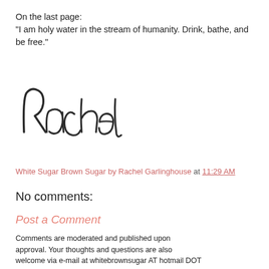On the last page:
"I am holy water in the stream of humanity. Drink, bathe, and be free."
[Figure (illustration): Handwritten cursive signature reading 'Rachel' in dark ink]
White Sugar Brown Sugar by Rachel Garlinghouse at 11:29 AM
No comments:
Post a Comment
Comments are moderated and published upon approval. Your thoughts and questions are also welcome via e-mail at whitebrownsugar AT hotmail DOT com.